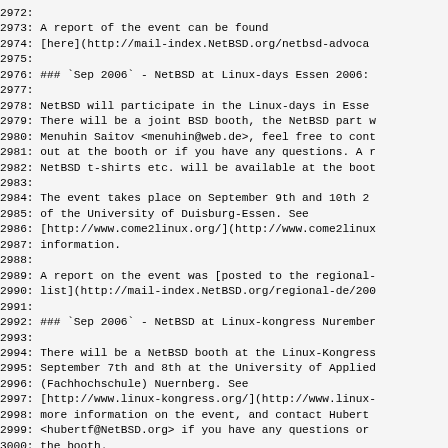2972:
2973: A report of the event can be found
2974: [here](http://mail-index.NetBSD.org/netbsd-advoca
2975:
2976: ### `Sep 2006` - NetBSD at Linux-days Essen 2006:
2977:
2978: NetBSD will participate in the Linux-days in Esse
2979: There will be a joint BSD booth, the NetBSD part w
2980: Menuhin Saitov <menuhin@web.de>, feel free to cont
2981: out at the booth or if you have any questions. A r
2982: NetBSD t-shirts etc. will be available at the boo
2983:
2984: The event takes place on September 9th and 10th 2
2985: of the University of Duisburg-Essen. See
2986: [http://www.come2linux.org/](http://www.come2linu
2987: information.
2988:
2989: A report on the event was [posted to the regional-
2990: list](http://mail-index.NetBSD.org/regional-de/200
2991:
2992: ### `Sep 2006` - NetBSD at Linux-kongress Nurember
2993:
2994: There will be a NetBSD booth at the Linux-Kongress
2995: September 7th and 8th at the University of Applied
2996: (Fachhochschule) Nuernberg. See
2997: [http://www.linux-kongress.org/](http://www.linux-
2998: more information on the event, and contact Hubert
2999: <hubertf@NetBSD.org> if you have any questions or
3000: the booth.
3001: